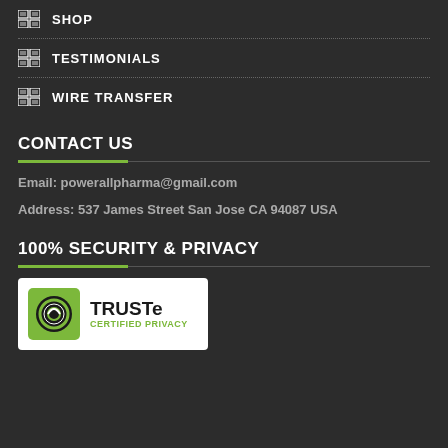SHOP
TESTIMONIALS
WIRE TRANSFER
CONTACT US
Email: powerallpharma@gmail.com
Address: 537 James Street San Jose CA 94087 USA
100% SECURITY & PRIVACY
[Figure (logo): TRUSTe Certified Privacy logo badge on white background]